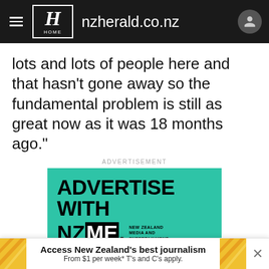nzherald.co.nz
lots and lots of people here and that hasn't gone away so the fundamental problem is still as great now as it was 18 months ago."
ADVERTISEMENT
[Figure (illustration): Teal/turquoise advertisement banner for NZME (New Zealand Media and Entertainment) with large black bold text reading 'ADVERTISE WITH' and 'NZ' in black, 'ME.' where ME is in white on black background. Right side has smaller text 'NEW ZEALAND MEDIA AND ENTERTAINMENT'. Orange circle with up arrow at bottom.]
Access New Zealand's best journalism From $1 per week* T's and C's apply.